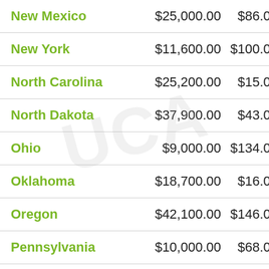| State | Col2 | Col3 | Col4 |
| --- | --- | --- | --- |
| New Mexico | $25,000.00 | $86.00 | $461. |
| New York | $11,600.00 | $100.00 | $504. |
| North Carolina | $25,200.00 | $15.00 | $350. |
| North Dakota | $37,900.00 | $43.00 | $618. |
| Ohio | $9,000.00 | $134.00 | $480. |
| Oklahoma | $18,700.00 | $16.00 | $539. |
| Oregon | $42,100.00 | $146.00 | $648. |
| Pennsylvania | $10,000.00 | $68.00 | $573. |
| Puerto Rico | $7,000.00 | $7.00 | $133. |